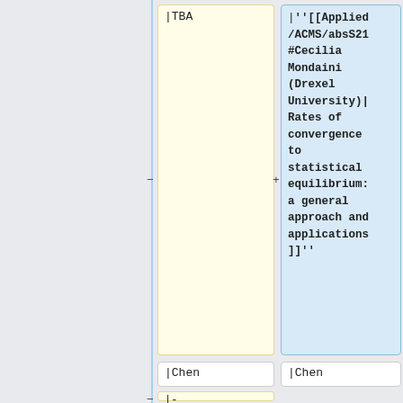| | TBA | | ''[[Applied/ACMS/absS21#Cecilia Mondaini (Drexel University)| Rates of convergence to statistical equilibrium: a general approach and applications]]'' |
| | Chen | | Chen |
| |-  |  |
| | Apr 2 |  |